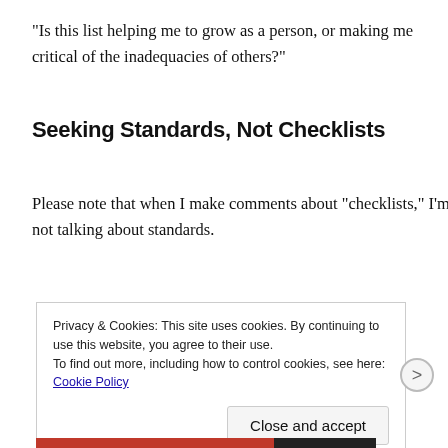“Is this list helping me to grow as a person, or making me critical of the inadequacies of others?”
Seeking Standards, Not Checklists
Please note that when I make comments about “checklists,” I’m not talking about standards.
Privacy & Cookies: This site uses cookies. By continuing to use this website, you agree to their use.
To find out more, including how to control cookies, see here: Cookie Policy